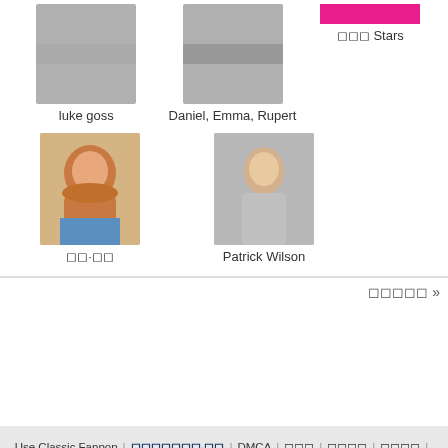luke goss
Daniel, Emma, Rupert
◻◻◻ Stars
[Figure (photo): Thumbnail photo of a smiling man with red beard (orange-tinted background)]
◻◻·◻◻
[Figure (photo): Thumbnail photo of Patrick Wilson]
Patrick Wilson
◻◻◻◻◻ >>
Use Classic Fanpop | ◻◻◻◻◻◻◻-◻◻ | DMCA | ◻◻◻ | ◻◻◻◻ | ◻◻◻◻ | ◻◻◻◻
English  Español  ◻◻◻◻◻◻◻  ◻◻  Français  ◻◻◻◻◻  Deutsch  Italiano  Português  Nederlands  Melayu  Filipino  ◻◻◻  ◻◻◻  русский  Việt Nam  Bahasa Indonesia  Kiswahili  اردو
Powered with HADRON by Revel
© 2006-2022 Fanpop, Inc. ◻◻◻◻. ◻◻◻◻ Townsquare Entertainment News